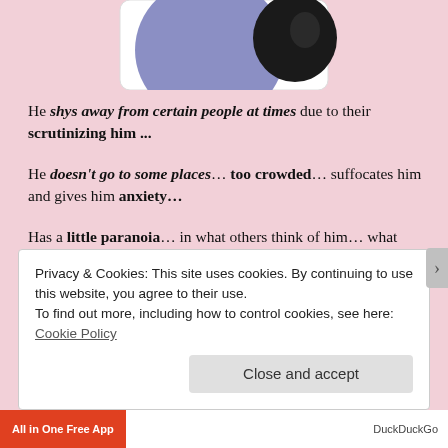[Figure (illustration): Partial view of an illustration showing two face silhouettes — a large purple/lavender profile and a smaller black profile — partially cropped at the top of the page, inside a white rounded rectangle frame on a pink background.]
He shys away from certain people at times due to their scrutinizing him ...
He doesn't go to some places… too crowded… suffocates him and gives him anxiety...
Has a little paranoia… in what others think of him… what others may do… safety issues and doing right all of the time...
Privacy & Cookies: This site uses cookies. By continuing to use this website, you agree to their use.
To find out more, including how to control cookies, see here: Cookie Policy
Close and accept
[Figure (screenshot): Bottom browser bar with 'All in One Free App' on red background on the left and 'DuckDuckGo' on the right.]